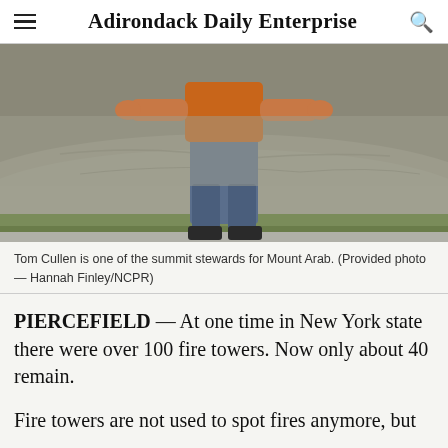Adirondack Daily Enterprise
[Figure (photo): Tom Cullen standing in front of a large rock, wearing an orange shirt and jeans, hands pressed against the rock surface.]
Tom Cullen is one of the summit stewards for Mount Arab. (Provided photo — Hannah Finley/NCPR)
PIERCEFIELD — At one time in New York state there were over 100 fire towers. Now only about 40 remain.
Fire towers are not used to spot fires anymore, but